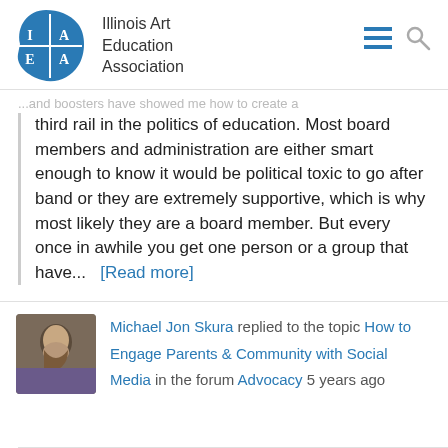[Figure (logo): Illinois Art Education Association logo with blue brush-stroke diamond shape containing letters I, A, E, A]
Illinois Art Education Association
...and boosters have showed me how to create a third rail in the politics of education. Most board members and administration are either smart enough to know it would be political toxic to go after band or they are extremely supportive, which is why most likely they are a board member. But every once in awhile you get one person or a group that have... [Read more]
Michael Jon Skura replied to the topic How to Engage Parents & Community with Social Media in the forum Advocacy 5 years ago